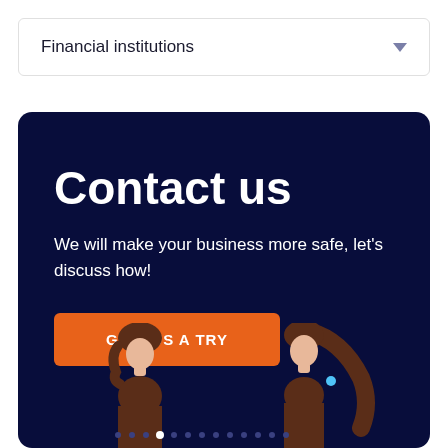Financial institutions
Contact us
We will make your business more safe, let's discuss how!
GIVE US A TRY
[Figure (illustration): Two illustrated people figures on dark navy background, one on left side and one on right side, decorative contact us section illustration]